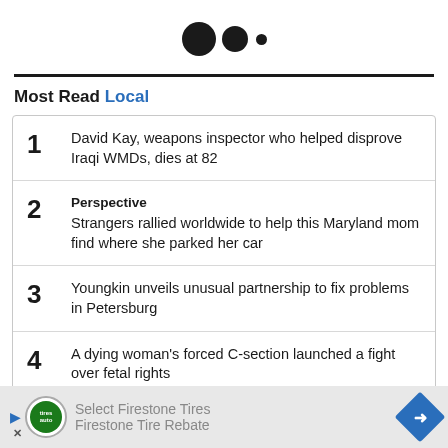[Figure (logo): Three dots logo - two large black circles and one small black circle]
Most Read Local
David Kay, weapons inspector who helped disprove Iraqi WMDs, dies at 82
Perspective
Strangers rallied worldwide to help this Maryland mom find where she parked her car
Youngkin unveils unusual partnership to fix problems in Petersburg
A dying woman’s forced C-section launched a fight over fetal rights
[Figure (illustration): Advertisement bar for Firestone Tires / Firestone Tire Rebate with logo, text and arrow icon]